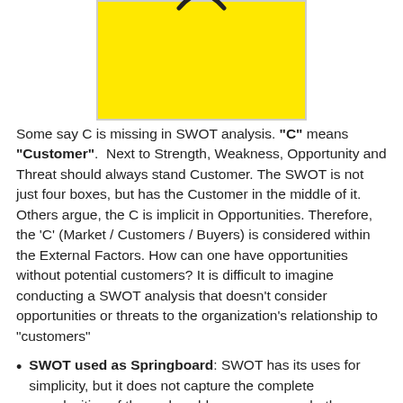[Figure (illustration): Partial view of a yellow square/box with a black curved arc at the top, resembling a SWOT diagram element]
Some say C is missing in SWOT analysis. "C" means "Customer".  Next to Strength, Weakness, Opportunity and Threat should always stand Customer. The SWOT is not just four boxes, but has the Customer in the middle of it. Others argue, the C is implicit in Opportunities. Therefore, the 'C' (Market / Customers / Buyers) is considered within the External Factors. How can one have opportunities without potential customers? It is difficult to imagine conducting a SWOT analysis that doesn't consider opportunities or threats to the organization's relationship to "customers"
SWOT used as Springboard: SWOT has its uses for simplicity, but it does not capture the complete complexities of the real world, one may say whether popping a "C" in front of it is the magic solution. Same holds true for another approaches summarized in an acronym: NIRC